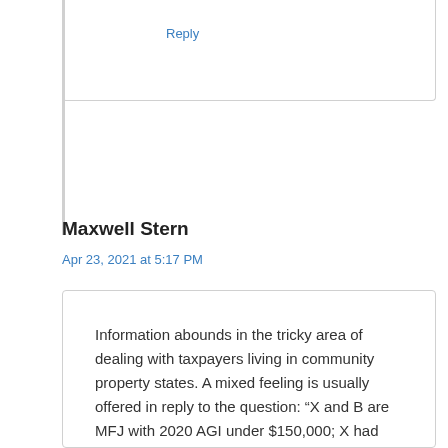Reply
Maxwell Stern
Apr 23, 2021 at 5:17 PM
Information abounds in the tricky area of dealing with taxpayers living in community property states. A mixed feeling is usually offered in reply to the question: “X and B are MFJ with 2020 AGI under $150,000; X had unemployment benefits (ui) of $22,000; B had ui benefits of $1,500. Community property (and the tax court in at least one case) attributes all incomes (and expenses) equally to both parties: ergo, B’s share of X’s ui is